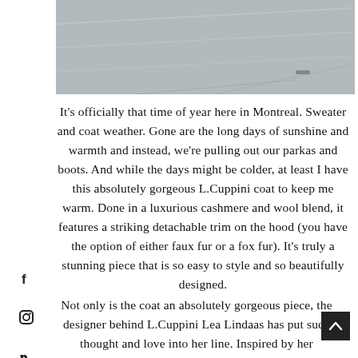[Figure (photo): Top portion of an outdoor photo showing a grey/wintry scene, likely a beach or field with muted tones]
It's officially that time of year here in Montreal. Sweater and coat weather. Gone are the long days of sunshine and warmth and instead, we're pulling out our parkas and boots. And while the days might be colder, at least I have this absolutely gorgeous L.Cuppini coat to keep me warm. Done in a luxurious cashmere and wool blend, it features a striking detachable trim on the hood (you have the option of either faux fur or a fox fur). It's truly a stunning piece that is so easy to style and so beautifully designed.
Not only is the coat an absolutely gorgeous piece, the designer behind L.Cuppini Lea Lindaas has put such thought and love into her line. Inspired by her international lifestyle and the appreciation her mother taught her for investing in quality items, Lea wanted to create pieces that were beautifully tailored as well as